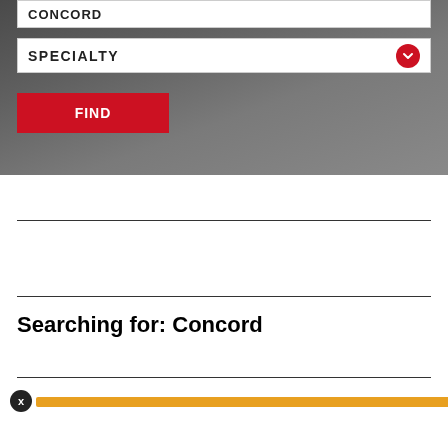CONCORD
SPECIALTY
FIND
Searching for: Concord